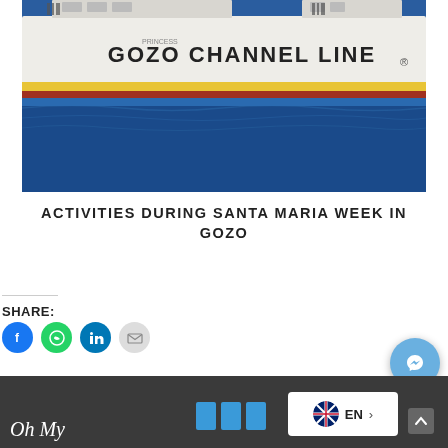[Figure (photo): A Gozo Channel Line ferry boat sailing on blue sea water, white hull with yellow and red stripe, text 'GOZO CHANNEL LINE' on the side]
ACTIVITIES DURING SANTA MARIA WEEK IN GOZO
SHARE:
[Figure (infographic): Social share buttons: Facebook (blue circle), WhatsApp (green circle), LinkedIn (blue circle), Email (grey circle)]
Oh My | EN language selector | Messenger chat button | Back to top button